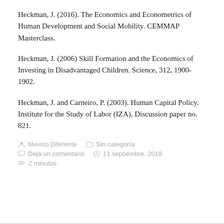Heckman, J. (2016). The Economics and Econometrics of Human Development and Social Mobility. CEMMAP Masterclass.
Heckman, J. (2006) Skill Formation and the Economics of Investing in Disadvantaged Children. Science, 312, 1900-1902.
Heckman, J. and Carneiro, P. (2003). Human Capital Policy. Institute for the Study of Labor (IZA), Discussion paper no. 821.
Mexico Diferente   Sin categoría   Deja un comentario   11 septiembre, 2018   2 minutos